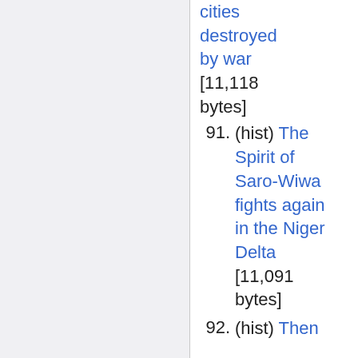cities destroyed by war [11,118 bytes]
91. (hist) The Spirit of Saro-Wiwa fights again in the Niger Delta [11,091 bytes]
92. (hist) Then...